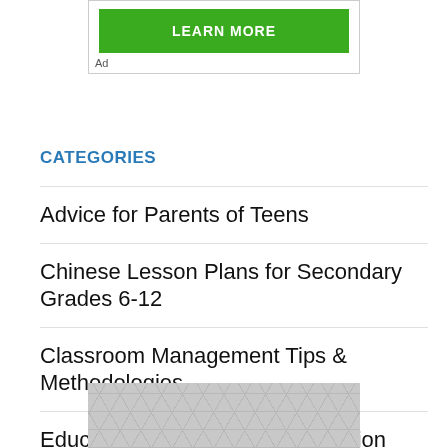[Figure (screenshot): Ad box with green LEARN MORE button and Ad label]
CATEGORIES
Advice for Parents of Teens
Chinese Lesson Plans for Secondary Grades 6-12
Classroom Management Tips & Methodologies
Education Industry News & Opinion
English Lesson Plans for Middle School
[Figure (illustration): Geometric hexagonal/diamond pattern in grey and white at the bottom of the page]